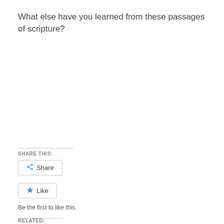What else have you learned from these passages of scripture?
SHARE THIS:
Share
Like
Be the first to like this.
RELATED: